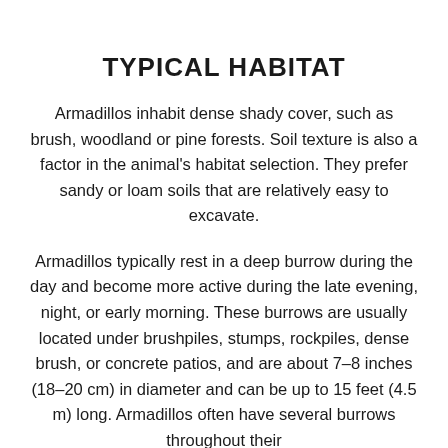TYPICAL HABITAT
Armadillos inhabit dense shady cover, such as brush, woodland or pine forests. Soil texture is also a factor in the animal's habitat selection. They prefer sandy or loam soils that are relatively easy to excavate.
Armadillos typically rest in a deep burrow during the day and become more active during the late evening, night, or early morning. These burrows are usually located under brushpiles, stumps, rockpiles, dense brush, or concrete patios, and are about 7–8 inches (18–20 cm) in diameter and can be up to 15 feet (4.5 m) long. Armadillos often have several burrows throughout their territory.